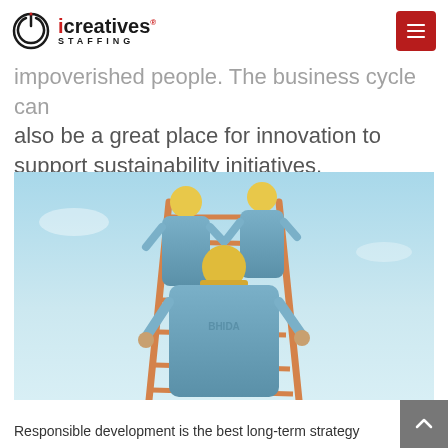iCreatives Staffing
impoverished people. The business cycle can also be a great place for innovation to support sustainability initiatives.
[Figure (photo): Three workers in blue uniforms and yellow hard hats climbing a ladder against a blue sky, viewed from behind.]
Responsible development is the best long-term strategy